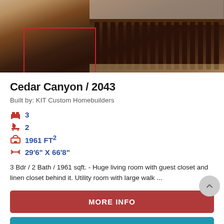[Figure (photo): Photo of a dark wood bed frame with vertical slats, with a red rectangle annotation overlaid on the lower-left portion of the image.]
Cedar Canyon / 2043
Built by: KIT Custom Homebuilders
3 (bedrooms)
2 (bathrooms)
1961 FT²
29'6" X 66'8"
3 Bdr / 2 Bath / 1961 sqft. - Huge living room with guest closet and linen closet behind it. Utility room with large walk ...
MORE INFO
PRICE QUOTE